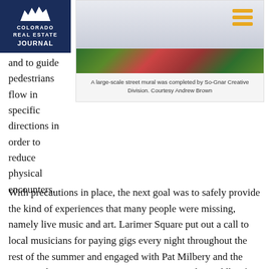[Figure (logo): Colorado Real Estate Journal logo — white mountain/cityscape silhouette on navy blue background with text 'COLORADO REAL ESTATE JOURNAL']
[Figure (photo): A large-scale street mural with colorful abstract/nature imagery in green, red, and orange tones, with a hamburger menu icon (three orange horizontal bars) visible in the upper right corner of the photo panel.]
A large-scale street mural was completed by So-Gnar Creative Division. Courtesy Andrew Brown
and to guide pedestrians flow in specific directions in order to reduce physical encounters.
With precautions in place, the next goal was to safely provide the kind of experiences that many people were missing, namely live music and art. Larimer Square put out a call to local musicians for paying gigs every night throughout the rest of the summer and engaged with Pat Milbery and the creative division at So-Gnar Creative to turn the middle of Larimer Street into a massive street mural that celebrates everything we love about Colorado. The mural was completed at the end of July